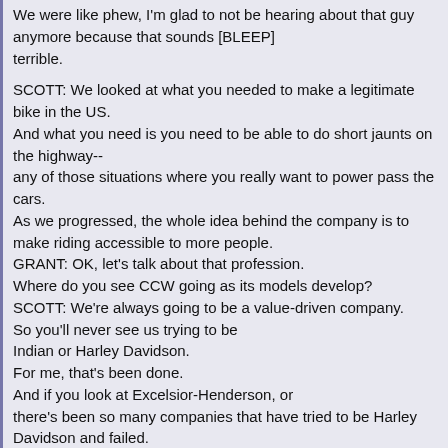We were like phew, I'm glad to not be hearing about that guy anymore because that sounds [BLEEP] terrible.

SCOTT: We looked at what you needed to make a legitimate bike in the US.
And what you need is you need to be able to do short jaunts on the highway--
any of those situations where you really want to power pass the cars.
As we progressed, the whole idea behind the company is to make riding accessible to more people.
GRANT: OK, let's talk about that profession.
Where do you see CCW going as its models develop?
SCOTT: We're always going to be a value-driven company.
So you'll never see us trying to be Indian or Harley Davidson.
For me, that's been done.
And if you look at Excelsior-Henderson, or there's been so many companies that have tried to be Harley Davidson and failed.